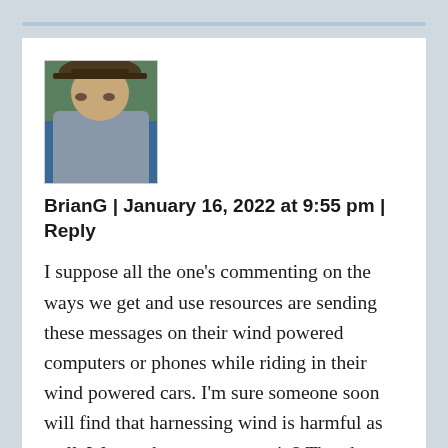[Figure (photo): Profile photo of a man wearing a camouflage cap, outdoors with greenery and blue background]
BrianG | January 16, 2022 at 9:55 pm | Reply
I suppose all the one's commenting on the ways we get and use resources are sending these messages on their wind powered computers or phones while riding in their wind powered cars. I'm sure someone soon will find that harnessing wind is harmful as well. Want to be cavemen again? Then how would you complain about everything. Guess what.....We're All born to die,day you were born the Undertaker started digging